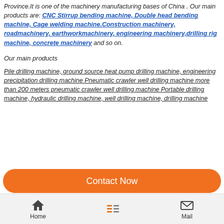Province.It is one of the machinery manufacturing bases of China . Our main products are: CNC Stirrup bending machine, Double head bending machine, Cage welding machine.Construction machinery, roadmachinery, earthworkmachinery, engineering machinery,drilling rig machine, concrete machinery and so on.
Our main products
Pile drilling machine, ground source heat pump drilling machine, engineering precipitation drilling machine Pneumatic crawler well drilling machine more than 200 meters pneumatic crawler well drilling machine Portable drilling machine, hydraulic drilling machine, well drilling machine, drilling machine
Contact Now
Home   Mail